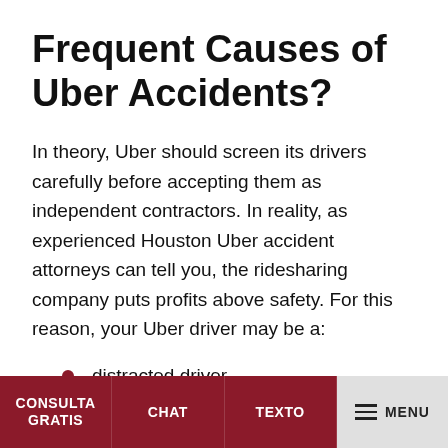Frequent Causes of Uber Accidents?
In theory, Uber should screen its drivers carefully before accepting them as independent contractors. In reality, as experienced Houston Uber accident attorneys can tell you, the ridesharing company puts profits above safety. For this reason, your Uber driver may be a:
distracted driver
drunk driver
aggressive driver
Just like any other motor vehicle accident, Uber
CONSULTA GRATIS | CHAT | TEXTO | MENU